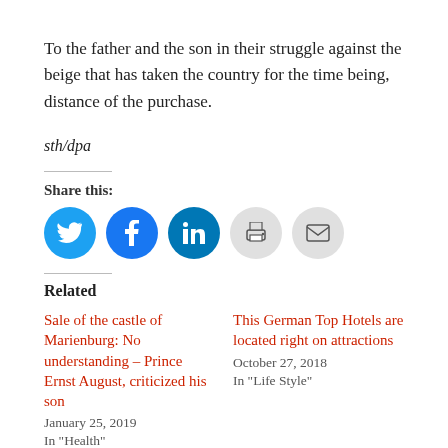To the father and the son in their struggle against the beige that has taken the country for the time being, distance of the purchase.
sth/dpa
Share this:
[Figure (other): Social share buttons: Twitter (blue circle), Facebook (blue circle), LinkedIn (blue circle), Print (gray circle), Email (gray circle)]
Related
Sale of the castle of Marienburg: No understanding – Prince Ernst August, criticized his son
January 25, 2019
In "Health"
This German Top Hotels are located right on attractions
October 27, 2018
In "Life Style"